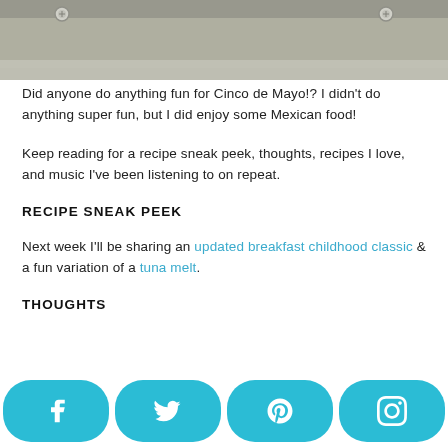[Figure (photo): Top portion of a photo showing a concrete or metal surface with bolt/screw details, partially cropped.]
Did anyone do anything fun for Cinco de Mayo!? I didn't do anything super fun, but I did enjoy some Mexican food!
Keep reading for a recipe sneak peek, thoughts, recipes I love, and music I've been listening to on repeat.
RECIPE SNEAK PEEK
Next week I'll be sharing an updated breakfast childhood classic & a fun variation of a tuna melt.
THOUGHTS
[Figure (infographic): Social media share bar with four round blue buttons: Facebook, Twitter, Pinterest, Instagram.]